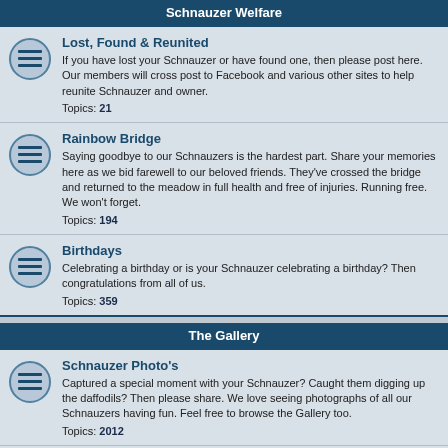Schnauzer Welfare
Lost, Found & Reunited
If you have lost your Schnauzer or have found one, then please post here. Our members will cross post to Facebook and various other sites to help reunite Schnauzer and owner.
Topics: 21
Rainbow Bridge
Saying goodbye to our Schnauzers is the hardest part. Share your memories here as we bid farewell to our beloved friends. They've crossed the bridge and returned to the meadow in full health and free of injuries. Running free. We won't forget.
Topics: 194
Birthdays
Celebrating a birthday or is your Schnauzer celebrating a birthday? Then congratulations from all of us.
Topics: 359
The Gallery
Schnauzer Photo's
Captured a special moment with your Schnauzer? Caught them digging up the daffodils? Then please share. We love seeing photographs of all our Schnauzers having fun. Feel free to browse the Gallery too.
Topics: 2012
Puppy Photos
The Schnauzer puppy stage goes by so quickly, so make sure you get lots of pictures and make sure that you share them with the rest of us. Bristle noses, floppy ears and wagging tails are all welcome.
Topics: 997